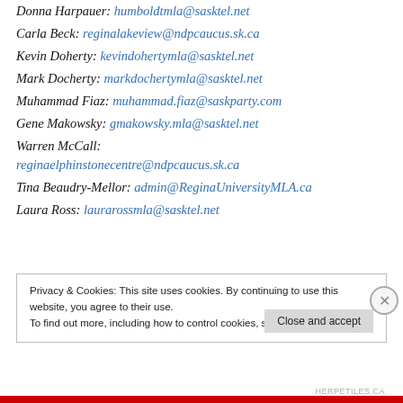Donna Harpauer: humboldtmla@sasktel.net
Carla Beck: reginalakeview@ndpcaucus.sk.ca
Kevin Doherty: kevindohertymla@sasktel.net
Mark Docherty: markdochertymla@sasktel.net
Muhammad Fiaz: muhammad.fiaz@saskparty.com
Gene Makowsky: gmakowsky.mla@sasktel.net
Warren McCall: reginaelphinstonecentre@ndpcaucus.sk.ca
Tina Beaudry-Mellor: admin@ReginaUniversityMLA.ca
Laura Ross: laurarossmla@sasktel.net
Privacy & Cookies: This site uses cookies. By continuing to use this website, you agree to their use. To find out more, including how to control cookies, see here: Cookie Policy